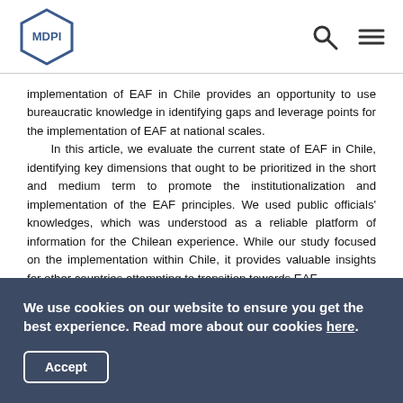MDPI
implementation of EAF in Chile provides an opportunity to use bureaucratic knowledge in identifying gaps and leverage points for the implementation of EAF at national scales.

In this article, we evaluate the current state of EAF in Chile, identifying key dimensions that ought to be prioritized in the short and medium term to promote the institutionalization and implementation of the EAF principles. We used public officials' knowledges, which was understood as a reliable platform of information for the Chilean experience. While our study focused on the implementation within Chile, it provides valuable insights for other countries attempting to transition towards EAF.
We use cookies on our website to ensure you get the best experience. Read more about our cookies here.
Accept